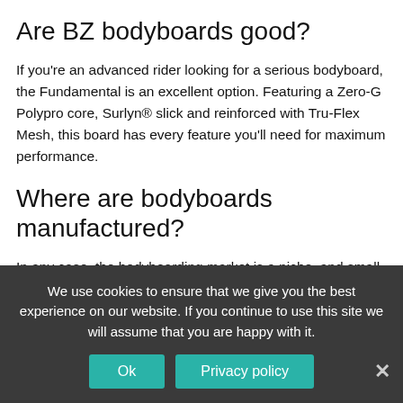Are BZ bodyboards good?
If you're an advanced rider looking for a serious bodyboard, the Fundamental is an excellent option. Featuring a Zero-G Polypro core, Surlyn® slick and reinforced with Tru-Flex Mesh, this board has every feature you'll need for maximum performance.
Where are bodyboards manufactured?
In any case, the bodyboarding market is a niche, and small workshops will never have the financial power to invest in technology & innovation. On the environment point of view, most of the raw materials are produced in China or Taiwan, which forces small workshop to import these materials.
We use cookies to ensure that we give you the best experience on our website. If you continue to use this site we will assume that you are happy with it.